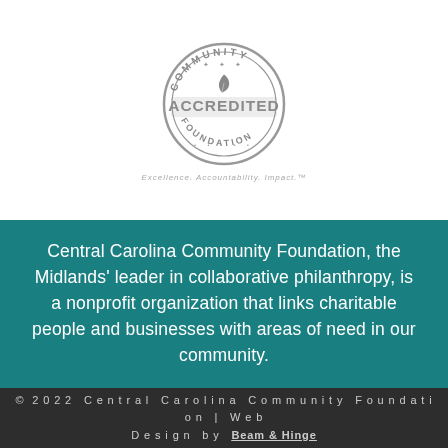[Figure (logo): Community Accredited Foundation circular badge/stamp logo in gray, with text COMMUNITY, ACCREDITED (large), FOUNDATION around a leaf/feather icon]
Excellence. Accountability. Impact.™
Central Carolina Community Foundation, the Midlands' leader in collaborative philanthropy, is a nonprofit organization that links charitable people and businesses with areas of need in our community.
© 2022 Central Carolina Community Foundation | Web Design by Beam & Hinge